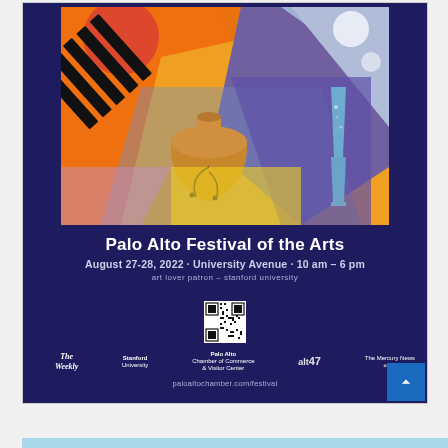[Figure (illustration): Colorful abstract art festival poster featuring piano keys, geometric shapes, pottery vase, and champagne flute in orange, purple, blue, and yellow tones]
Palo Alto Festival of the Arts
August 27-28, 2022 · University Avenue · 10 am – 6 pm
art lover patron – stanford university
[Figure (other): QR code for festival website]
[Figure (logo): Logos: The Weekly, Stanford University, Palo Alto Chamber of Commerce & Visitor Center, alt47, The Mercury News]
paloaltochamber.com/festival